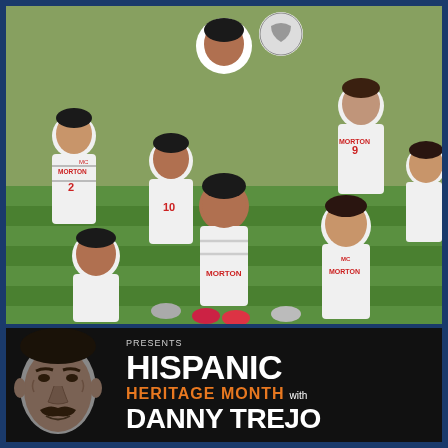[Figure (photo): Morton College men's soccer team posing on a green turf field, wearing white striped jerseys with 'MORTON' and 'MC' logos. Players are smiling and making gestures, one holding a soccer ball. Numbers visible include #2, #10, #9.]
[Figure (photo): Dark background promotional graphic featuring actor Danny Trejo on the left side (black and white photo of older man with mustache) and text on the right: 'PRESENTS HISPANIC HERITAGE MONTH with DANNY TREJO' in white and orange lettering.]
PRESENTS
HISPANIC
HERITAGE MONTH with
DANNY TREJO